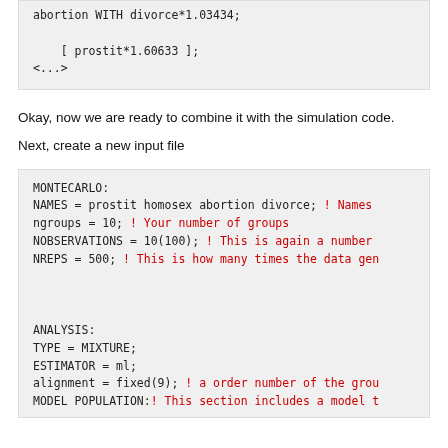abortion WITH divorce*1.03434;
[ prostit*1.60633 ];
<...>
Okay, now we are ready to combine it with the simulation code.
Next, create a new input file
MONTECARLO:
NAMES = prostit homosex abortion divorce; ! Names
ngroups = 10; ! Your number of groups
NOBSERVATIONS = 10(100); ! This is again a number
NREPS = 500; ! This is how many times the data gen


ANALYSIS:
TYPE = MIXTURE;
ESTIMATOR = ml;
alignment = fixed(9); ! a order number of the grou
MODEL POPULATION:! This section includes a model t